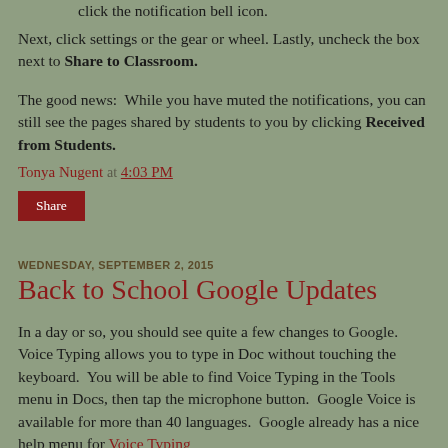click the notification bell icon.
Next, click settings or the gear or wheel. Lastly, uncheck the box next to Share to Classroom.
The good news:  While you have muted the notifications, you can still see the pages shared by students to you by clicking Received from Students.
Tonya Nugent at 4:03 PM
Share
WEDNESDAY, SEPTEMBER 2, 2015
Back to School Google Updates
In a day or so, you should see quite a few changes to Google.  Voice Typing allows you to type in Doc without touching the keyboard.  You will be able to find Voice Typing in the Tools menu in Docs, then tap the microphone button.  Google Voice is available for more than 40 languages.  Google already has a nice help menu for Voice Typing